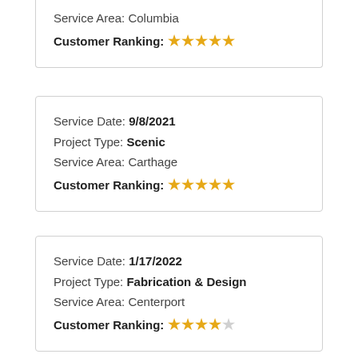Service Area: Columbia
Customer Ranking: ★★★★★
Service Date: 9/8/2021
Project Type: Scenic
Service Area: Carthage
Customer Ranking: ★★★★★
Service Date: 1/17/2022
Project Type: Fabrication & Design
Service Area: Centerport
Customer Ranking: ★★★★☆